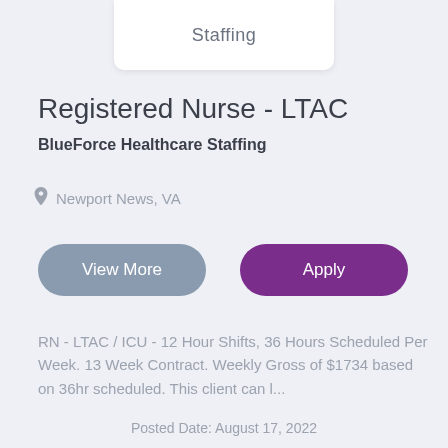[Figure (logo): BlueForce Healthcare Staffing logo card showing 'Staffing' text at top]
Registered Nurse - LTAC
BlueForce Healthcare Staffing
Newport News, VA
View More
Apply
RN - LTAC / ICU - 12 Hour Shifts, 36 Hours Scheduled Per Week. 13 Week Contract. Weekly Gross of $1734 based on 36hr scheduled. This client can l...
Posted Date: August 17, 2022